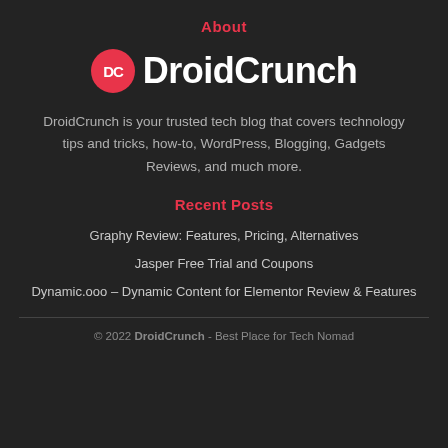About
[Figure (logo): DroidCrunch logo: red circle with white DC letters, followed by DroidCrunch text in white bold font]
DroidCrunch is your trusted tech blog that covers technology tips and tricks, how-to, WordPress, Blogging, Gadgets Reviews, and much more.
Recent Posts
Graphy Review: Features, Pricing, Alternatives
Jasper Free Trial and Coupons
Dynamic.ooo – Dynamic Content for Elementor Review & Features
© 2022 DroidCrunch - Best Place for Tech Nomad